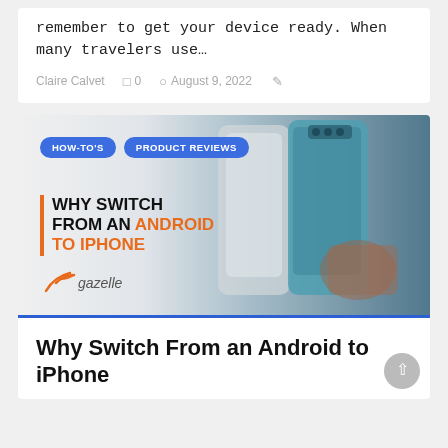remember to get your device ready. When many travelers use…
Claire Calvet   □ 0   © August 9, 2022   /
[Figure (illustration): Article thumbnail image showing two smartphones (white iPhone and teal Android/Samsung), with overlaid text: HOW-TO'S | PRODUCT REVIEWS tags, and headline 'WHY SWITCH FROM AN ANDROID TO IPHONE' with a Gazelle logo at the bottom left.]
Why Switch From an Android to iPhone